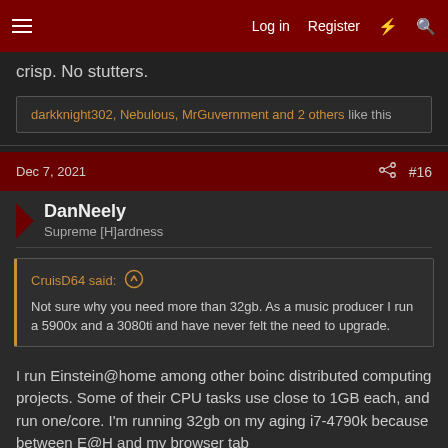Log in | Register
crisp. No stutters.
darkknight302, Nebulous, MrGuvernment and 2 others like this
Dec 7, 2021  #16
DanNeely
Supreme [H]ardness
CruisD64 said:
Not sure why you need more than 32gb. As a music producer I run a 5900x and a 3080ti and have never felt the need to upgrade.
I run Einstein@home among other boinc distributed computing projects. Some of their CPU tasks use close to 1GB each, and run one/core. I'm running 32gb on my aging i7-4790k because between E@H and my browser tab